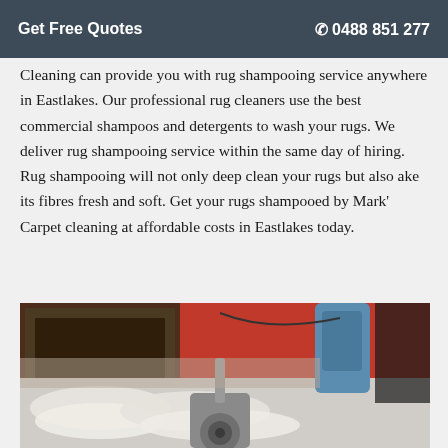Get Free Quotes   ☎ 0488 851 277
Cleaning can provide you with rug shampooing service anywhere in Eastlakes. Our professional rug cleaners use the best commercial shampoos and detergents to wash your rugs. We deliver rug shampooing service within the same day of hiring. Rug shampooing will not only deep clean your rugs but also ake its fibres fresh and soft. Get your rugs shampooed by Mark' Carpet cleaning at affordable costs in Eastlakes today.
[Figure (photo): Photo of rugs being cleaned with a rotary shampooing machine on a red background surface, showing foamy/washed rugs and cleaning equipment.]